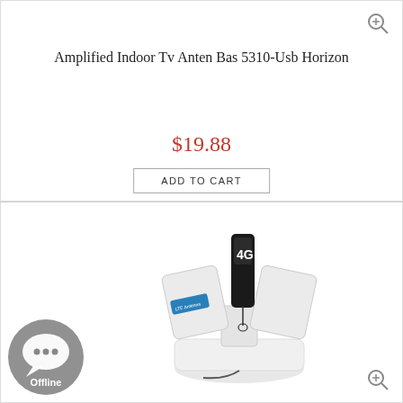Amplified Indoor Tv Anten Bas 5310-Usb Horizon
$19.88
ADD TO CART
[Figure (photo): Product photo of a white 4G antenna base station device with a black 4G USB dongle inserted, on a white background]
[Figure (other): Offline chat support bubble icon (grey circle with speech bubble and three dots, labeled Offline)]